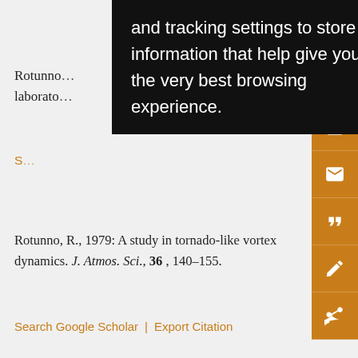Rotunno [truncated] laboratory [truncated]
Search Google Scholar | Export Citation
Rotunno, R., 1979: A study in tornado-like vortex dynamics. J. Atmos. Sci., 36, 140–155.
Search Google Scholar | Export Citation
Rotunno, R., 1986: Tornadoes and tornadogenesis. Mesoscale Meteorology and Forecasting, P. S. Ray, Ed., Amer. Meteor. Soc., 414–436.
Search Google Scholar | Export Citation
Rotunno, R., and J. B. Klemp, 1985: On the rotation and propagation of simulated supercell